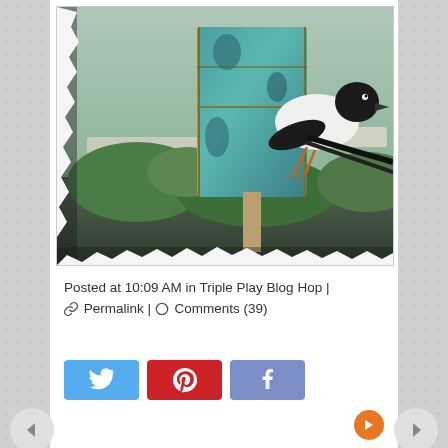[Figure (photo): Close-up photo of a decorative bird figurine perched on a teal/green painted birdhouse or decorative piece, with garden greenery and stones in the background.]
Posted at 10:09 AM in Triple Play Blog Hop | ø Permalink | ○ Comments (39)
[Figure (infographic): Social sharing buttons: Twitter (blue), Pinterest (red), Facebook (purple)]